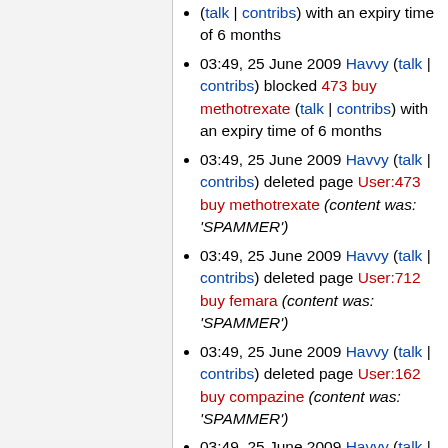(talk | contribs) with an expiry time of 6 months
03:49, 25 June 2009 Havvy (talk | contribs) blocked 473 buy methotrexate (talk | contribs) with an expiry time of 6 months
03:49, 25 June 2009 Havvy (talk | contribs) deleted page User:473 buy methotrexate (content was: 'SPAMMER')
03:49, 25 June 2009 Havvy (talk | contribs) deleted page User:712 buy femara (content was: 'SPAMMER')
03:49, 25 June 2009 Havvy (talk | contribs) deleted page User:162 buy compazine (content was: 'SPAMMER')
03:49, 25 June 2009 Havvy (talk | contribs) deleted page User:834 buy cialis (content was: 'SPAMMER')